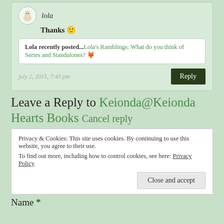lola
Thanks 🙂
Lola recently posted...Lola's Ramblings: What do you think of Series and Standalones? 🦊
july 2, 2015, 7:45 pm
Reply
Leave a Reply to Keionda@Keionda Hearts Books Cancel reply
Privacy & Cookies: This site uses cookies. By continuing to use this website, you agree to their use.
To find out more, including how to control cookies, see here: Privacy Policy
Close and accept
Name *